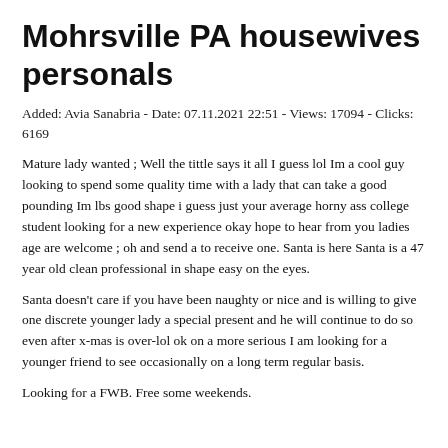Mohrsville PA housewives personals
Added: Avia Sanabria - Date: 07.11.2021 22:51 - Views: 17094 - Clicks: 6169
Mature lady wanted ; Well the tittle says it all I guess lol Im a cool guy looking to spend some quality time with a lady that can take a good pounding Im lbs good shape i guess just your average horny ass college student looking for a new experience okay hope to hear from you ladies age are welcome ; oh and send a to receive one. Santa is here Santa is a 47 year old clean professional in shape easy on the eyes.
Santa doesn't care if you have been naughty or nice and is willing to give one discrete younger lady a special present and he will continue to do so even after x-mas is over-lol ok on a more serious I am looking for a younger friend to see occasionally on a long term regular basis.
Looking for a FWB. Free some weekends.